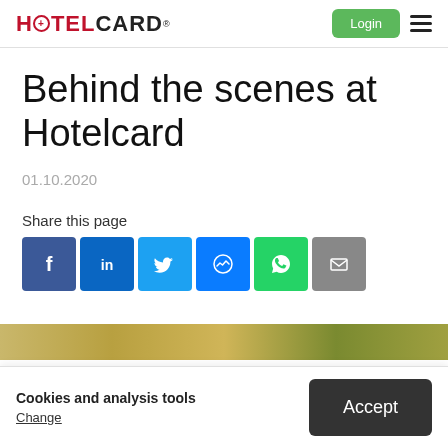HOTELCARD — Login button, hamburger menu
Behind the scenes at Hotelcard
01.10.2020
Share this page
[Figure (other): Social share icons: Facebook, LinkedIn, Twitter, Messenger, WhatsApp, Email]
Cookies and analysis tools
Change
Accept